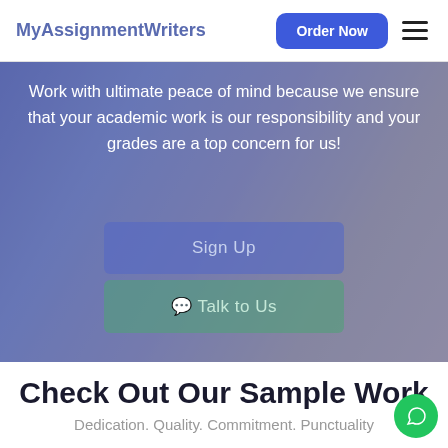MyAssignmentWriters
[Figure (screenshot): Hero banner with blurred desk/writing background image overlaid with blue-purple tint]
Work with ultimate peace of mind because we ensure that your academic work is our responsibility and your grades are a top concern for us!
Sign Up
Talk to Us
Check Out Our Sample Work
Dedication. Quality. Commitment. Punctuality